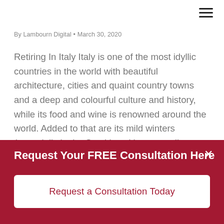≡
By Lambourn Digital • March 30, 2020
Retiring In Italy Italy is one of the most idyllic countries in the world with beautiful architecture, cities and quaint country towns and a deep and colourful culture and history, while its food and wine is renowned around the world. Added to that are its mild winters (especially in the South) and its warm climate...
Request Your FREE Consultation Here
Request a Consultation Today